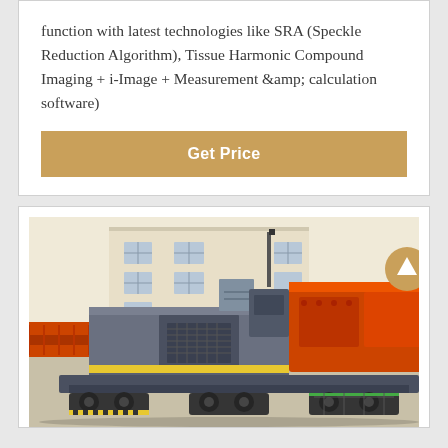function with latest technologies like SRA (Speckle Reduction Algorithm), Tissue Harmonic Compound Imaging + i-Image + Measurement &amp; calculation software)
[Figure (other): Golden/tan colored button labeled 'Get Price']
[Figure (photo): Industrial mobile crushing/screening machine with orange and grey components parked near a factory building. The machine is mounted on a trailer/wheeled base.]